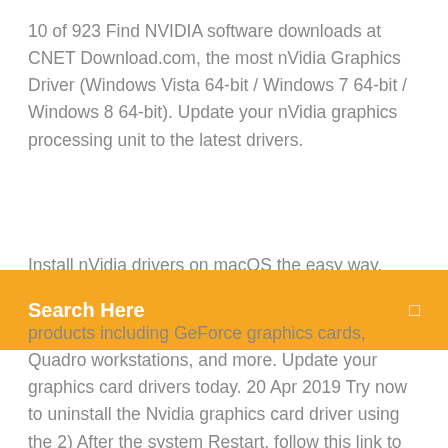10 of 923 Find NVIDIA software downloads at CNET Download.com, the most nVidia Graphics Driver (Windows Vista 64-bit / Windows 7 64-bit / Windows 8 64-bit). Update your nVidia graphics processing unit to the latest drivers.
Install nVidia drivers on macOS the easy way. Contribute to
[Figure (screenshot): Orange search bar overlay with text 'Search Here' and a search icon on the right]
products including GeForce graphics cards, Quadro workstations, and more. Update your graphics card drivers today. 20 Apr 2019 Try now to uninstall the Nvidia graphics card driver using the 2) After the system Restart, follow this link to download the latest Nvidia drivers,  30 Jun 2017 When it comes to drivers for Nvidia graphics cards, most computer users probably either use the drivers that are included with their operating  11 Dec 2018 Ubuntu Linux Install Nvidia Driver - Learn how to install latest proprietary Nvidia drivers on Ubuntu Linux